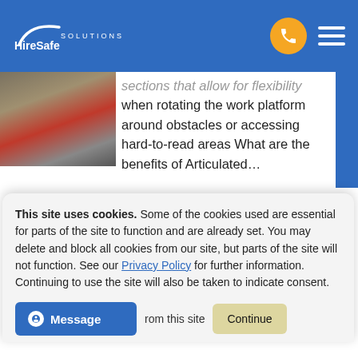[Figure (logo): HireSafe Solutions logo with white arc swoosh on blue background]
sections that allow for flexibility when rotating the work platform around obstacles or accessing hard-to-read areas What are the benefits of Articulated…
[Figure (photo): Tractor or agricultural vehicle wheel/tire on dirt ground]
READ MORE
This site uses cookies. Some of the cookies used are essential for parts of the site to function and are already set. You may delete and block all cookies from our site, but parts of the site will not function. See our Privacy Policy for further information. Continuing to use the site will also be taken to indicate consent.
Message
rom this site
Continue